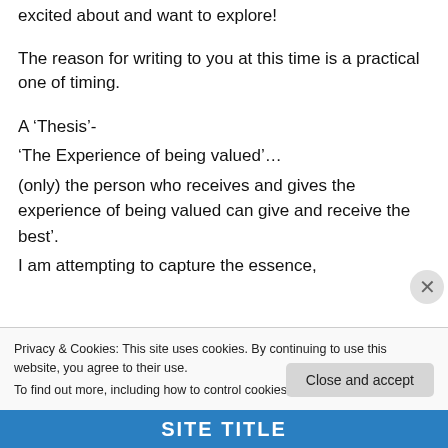excited about and want to explore!
The reason for writing to you at this time is a practical one of timing.
A ‘Thesis’-
‘The Experience of being valued’…
(only) the person who receives and gives the experience of being valued can give and receive the best’.
I am attempting to capture the essence,
Privacy & Cookies: This site uses cookies. By continuing to use this website, you agree to their use.
To find out more, including how to control cookies, see here: Cookie Policy
Close and accept